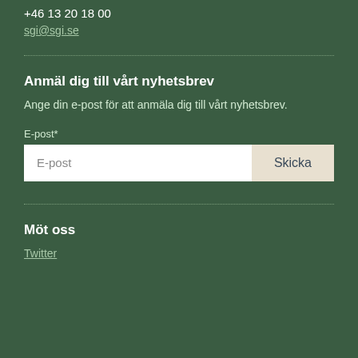+46 13 20 18 00
sgi@sgi.se
Anmäl dig till vårt nyhetsbrev
Ange din e-post för att anmäla dig till vårt nyhetsbrev.
E-post*
E-post
Skicka
Möt oss
Twitter